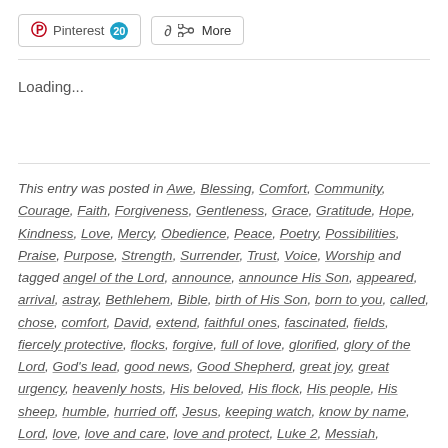[Figure (screenshot): Pinterest share button with count badge of 20 and a More share button]
Loading...
This entry was posted in Awe, Blessing, Comfort, Community, Courage, Faith, Forgiveness, Gentleness, Grace, Gratitude, Hope, Kindness, Love, Mercy, Obedience, Peace, Poetry, Possibilities, Praise, Purpose, Strength, Surrender, Trust, Voice, Worship and tagged angel of the Lord, announce, announce His Son, appeared, arrival, astray, Bethlehem, Bible, birth of His Son, born to you, called, chose, comfort, David, extend, faithful ones, fascinated, fields, fiercely protective, flocks, forgive, full of love, glorified, glory of the Lord, God's lead, good news, Good Shepherd, great joy, great urgency, heavenly hosts, His beloved, His flock, His people, His sheep, humble, hurried off, Jesus, keeping watch, know by name, Lord, love, love and care, love and protect, Luke 2, Messiah,